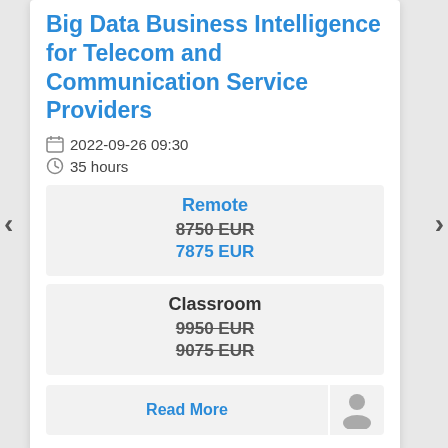Big Data Business Intelligence for Telecom and Communication Service Providers
2022-09-26 09:30
35 hours
Remote
8750 EUR
7875 EUR
Classroom
9950 EUR
9075 EUR
Read More